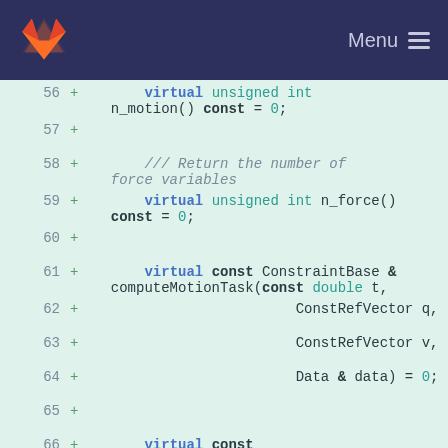GitLab — Menu
[Figure (screenshot): Code diff viewer showing C++ virtual function declarations in a class, lines 56-66, with green background indicating added lines and + markers.]